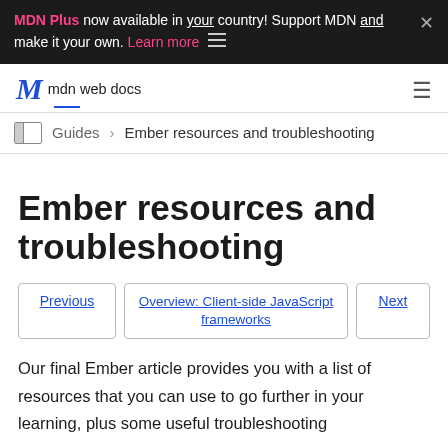MDN Plus now available in your country! Support MDN and make it your own. Learn more
mdn web docs
Guides › Ember resources and troubleshooting
Ember resources and troubleshooting
Previous | Overview: Client-side JavaScript frameworks | Next
Our final Ember article provides you with a list of resources that you can use to go further in your learning, plus some useful troubleshooting